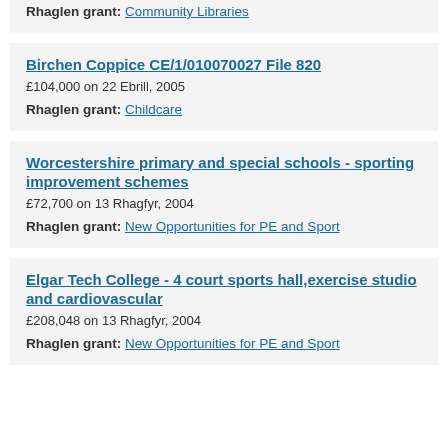Rhaglen grant: Community Libraries
Birchen Coppice CE/1/010070027 File 820
£104,000 on 22 Ebrill, 2005
Rhaglen grant: Childcare
Worcestershire primary and special schools - sporting improvement schemes
£72,700 on 13 Rhagfyr, 2004
Rhaglen grant: New Opportunities for PE and Sport
Elgar Tech College - 4 court sports hall,exercise studio and cardiovascular
£208,048 on 13 Rhagfyr, 2004
Rhaglen grant: New Opportunities for PE and Sport